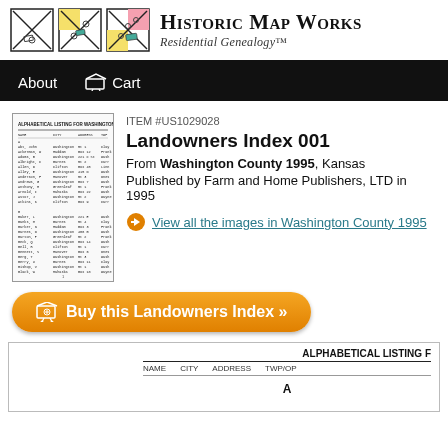[Figure (logo): Historic Map Works logo with three map icons and text 'Historic Map Works Residential Genealogy']
About  Cart
[Figure (illustration): Thumbnail image of a landowners index document with alphabetical listing columns]
ITEM #US1029028
Landowners Index 001
From Washington County 1995, Kansas
Published by Farm and Home Publishers, LTD in 1995
View all the images in Washington County 1995
Buy this Landowners Index »
[Figure (screenshot): Partial preview of alphabetical listing document showing header 'ALPHABETICAL LISTING F' and column headers NAME, CITY, ADDRESS, TWP/OP, and letter A]